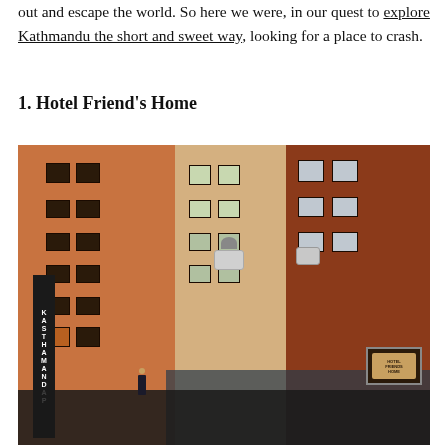out and escape the world. So here we were, in our quest to explore Kathmandu the short and sweet way, looking for a place to crash.
1. Hotel Friend's Home
[Figure (photo): Exterior photo of Hotel Friend's Home in Kathmandu, showing multi-story buildings with orange/brick facades, a vertical black sign reading 'KASTHAMANDAP', a blue hotel sign reading 'HOTEL FRIENDS HOME', windows, an AC unit, and a glass-fronted ground floor storefront area.]